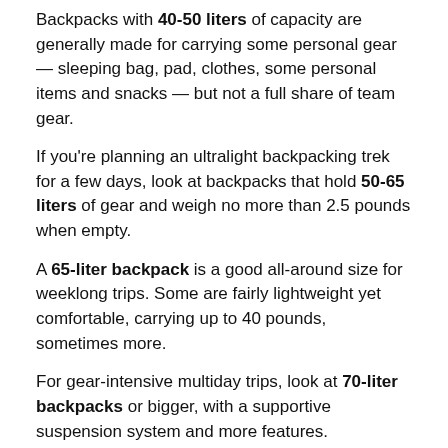Backpacks with 40-50 liters of capacity are generally made for carrying some personal gear — sleeping bag, pad, clothes, some personal items and snacks — but not a full share of team gear.
If you're planning an ultralight backpacking trek for a few days, look at backpacks that hold 50-65 liters of gear and weigh no more than 2.5 pounds when empty.
A 65-liter backpack is a good all-around size for weeklong trips. Some are fairly lightweight yet comfortable, carrying up to 40 pounds, sometimes more.
For gear-intensive multiday trips, look at 70-liter backpacks or bigger, with a supportive suspension system and more features.
[Figure (photo): Top view of a tan/brown backpack with straps and buckles visible]